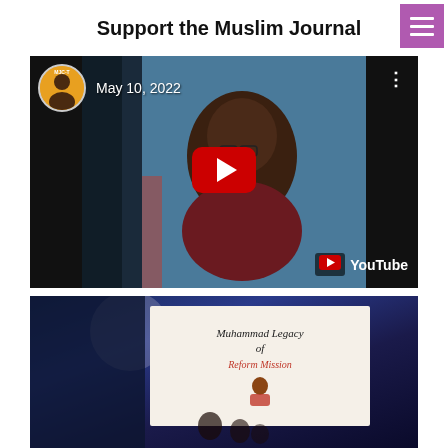Support the Muslim Journal
[Figure (screenshot): YouTube video thumbnail showing a man speaking, dated May 10, 2022, with a circular channel avatar labeled MJC-T, a red YouTube play button in the center, and YouTube branding in the bottom right corner.]
[Figure (photo): A photo showing a book titled 'Muhammad Legacy of Reform Mission' held by a person against a dark blue background, with a partial silhouette of a figure visible.]